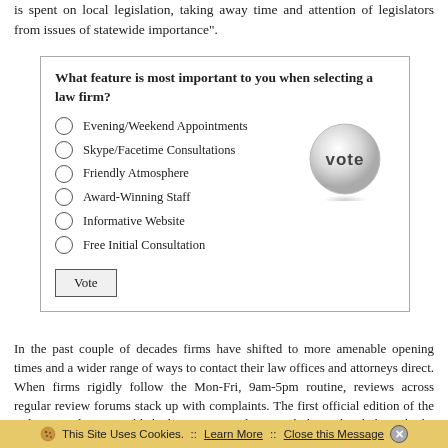is spent on local legislation, taking away time and attention of legislators from issues of statewide importance".
[Figure (other): Poll widget asking 'What feature is most important to you when selecting a law firm?' with radio button options: Evening/Weekend Appointments, Skype/Facetime Consultations, Friendly Atmosphere, Award-Winning Staff, Informative Website, Free Initial Consultation, and a Vote button. A 3D 'vote' badge appears in the top right of the widget.]
In the past couple of decades firms have shifted to more amenable opening times and a wider range of ways to contact their law offices and attorneys direct. When firms rigidly follow the Mon-Fri, 9am-5pm routine, reviews across regular review forums stack up with complaints. The first official edition of the Indiana Code was published in 1976, and is regularly updated through the Office of Code Revision in the Legislative Services Agency. However, in doing so, they had to make some modifications to account for the fact that state
This Site Uses Cookies.  ::  Learn More  ::  Close this Message ✕